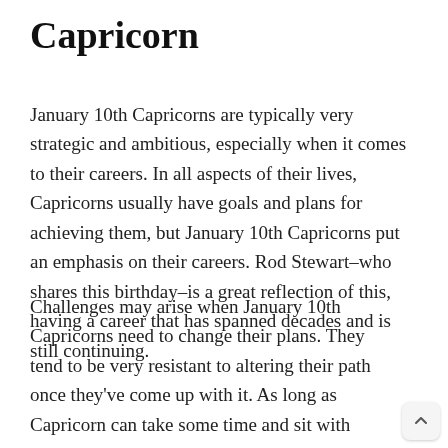Capricorn
January 10th Capricorns are typically very strategic and ambitious, especially when it comes to their careers. In all aspects of their lives, Capricorns usually have goals and plans for achieving them, but January 10th Capricorns put an emphasis on their careers. Rod Stewart–who shares this birthday–is a great reflection of this, having a career that has spanned decades and is still continuing.
Challenges may arise when January 10th Capricorns need to change their plans. They tend to be very resistant to altering their path once they've come up with it. As long as Capricorn can take some time and sit with